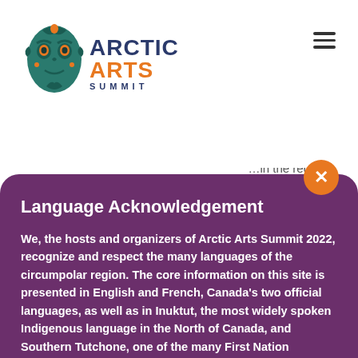[Figure (logo): Arctic Arts Summit logo with teal indigenous art mask icon, text reading ARCTIC ARTS SUMMIT]
…in the region
Language Acknowledgement
We, the hosts and organizers of Arctic Arts Summit 2022, recognize and respect the many languages of the circumpolar region. The core information on this site is presented in English and French, Canada's two official languages, as well as in Inuktut, the most widely spoken Indigenous language in the North of Canada, and Southern Tutchone, one of the many First Nation languages in Yukon and the language of the nations on whose territory the in-person Summit
nor…